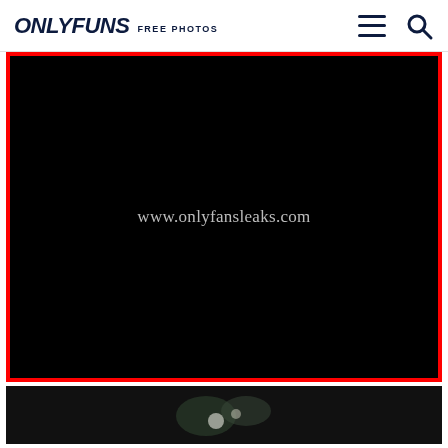ONLYFUNS FREE PHOTOS
[Figure (screenshot): Black image with watermark text 'www.onlyfansleaks.com' centered, surrounded by red border]
[Figure (photo): Partial thumbnail strip at bottom showing dark greenish image]